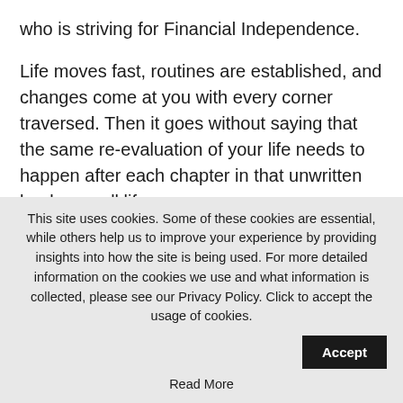who is striving for Financial Independence.
Life moves fast, routines are established, and changes come at you with every corner traversed. Then it goes without saying that the same re-evaluation of your life needs to happen after each chapter in that unwritten book we call life.
We must stay economical with our life.
Wasteful
This site uses cookies. Some of these cookies are essential, while others help us to improve your experience by providing insights into how the site is being used. For more detailed information on the cookies we use and what information is collected, please see our Privacy Policy. Click to accept the usage of cookies.
Read More